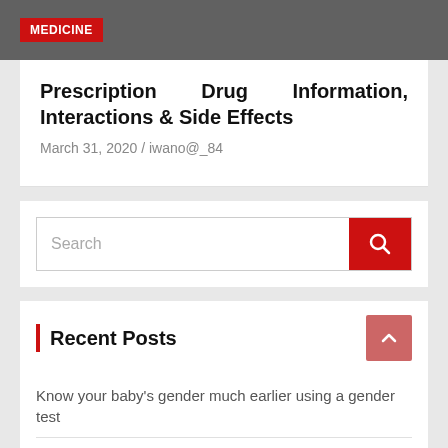MEDICINE
Prescription Drug Information, Interactions & Side Effects
March 31, 2020 / iwano@_84
[Figure (other): Search bar with red search button]
Recent Posts
Know your baby's gender much earlier using a gender test
Tanita scales will help you in your journey to becoming